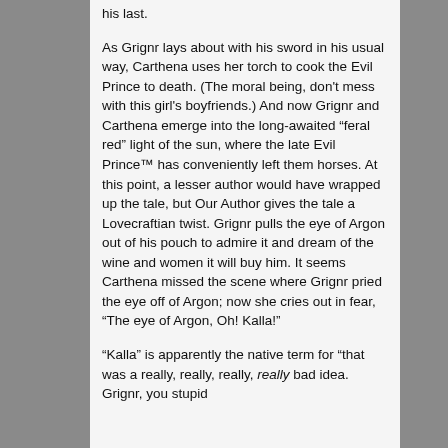his last.
As Grignr lays about with his sword in his usual way, Carthena uses her torch to cook the Evil Prince to death. (The moral being, don't mess with this girl's boyfriends.) And now Grignr and Carthena emerge into the long-awaited “feral red” light of the sun, where the late Evil Prince™ has conveniently left them horses. At this point, a lesser author would have wrapped up the tale, but Our Author gives the tale a Lovecraftian twist. Grignr pulls the eye of Argon out of his pouch to admire it and dream of the wine and women it will buy him. It seems Carthena missed the scene where Grignr pried the eye off of Argon; now she cries out in fear, “The eye of Argon, Oh! Kalla!”
“Kalla” is apparently the native term for “that was a really, really, really, really bad idea. Grignr, you stupid